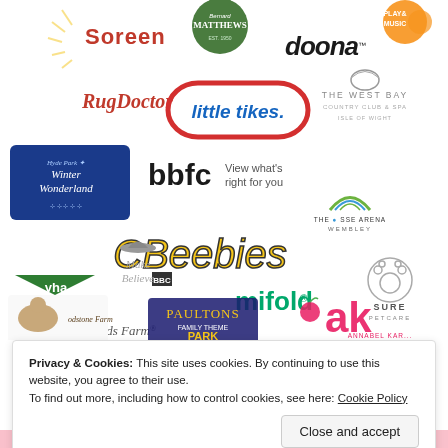[Figure (infographic): Brand logos collage including: Soreen, Bernard Matthews, Doona, Play & Music, Rug Doctor, Little Tikes, The West Bay Country Club & Spa, Hyde Park Winter Wonderland, BBFC View what's right for you, CBeebies BBC, The SSE Arena Wembley, YHA, Make Believe, Mifold, Sure Petcare, Childs Farm, Godstone Farm, Paultons Family Theme Park, Annabel Karmel (ak)]
Privacy & Cookies: This site uses cookies. By continuing to use this website, you agree to their use.
To find out more, including how to control cookies, see here: Cookie Policy
Close and accept